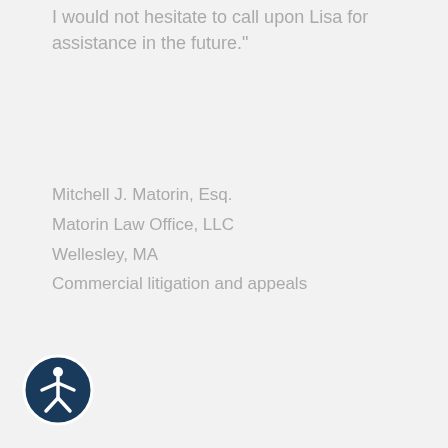I would not hesitate to call upon Lisa for assistance in the future."
Mitchell J. Matorin, Esq.
Matorin Law Office, LLC
Wellesley, MA
Commercial litigation and appeals
[Figure (illustration): Accessibility icon: a circular dark navy blue button with a white human figure with arms and legs spread, representing accessibility/wheelchair accessibility widget]